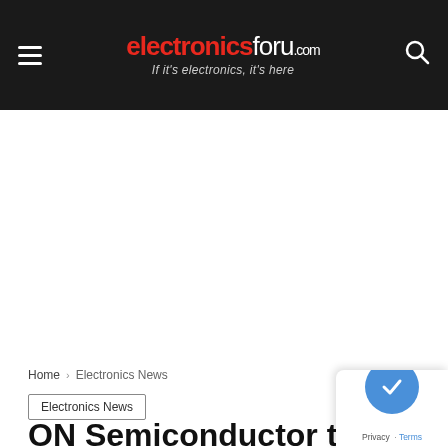electronicsforu.com — If it's electronics, it's here
[Figure (other): Advertisement placeholder area (white space)]
Home › Electronics News
Electronics News
ON Semiconductor to